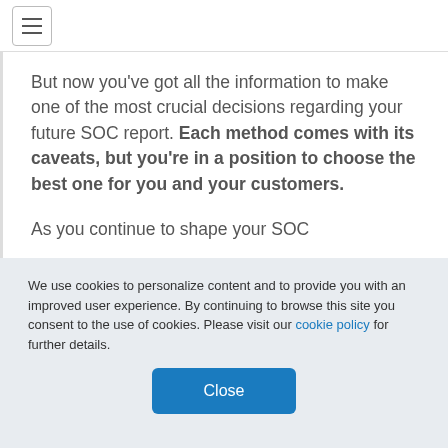≡
But now you've got all the information to make one of the most crucial decisions regarding your future SOC report. Each method comes with its caveats, but you're in a position to choose the best one for you and your customers.

As you continue to shape your SOC
We use cookies to personalize content and to provide you with an improved user experience. By continuing to browse this site you consent to the use of cookies. Please visit our cookie policy for further details.
Close